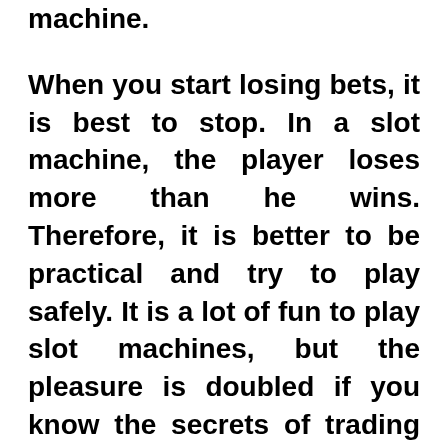machine.
When you start losing bets, it is best to stop. In a slot machine, the player loses more than he wins. Therefore, it is better to be practical and try to play safely. It is a lot of fun to play slot machines, but the pleasure is doubled if you know the secrets of trading and make money from the game. The best judi slot payout tips will help you determine which slot machine offers the most money. Correct knowledge is essential before you can identify the most profitable slot. You must decide what kind of profit you prefer. Slot